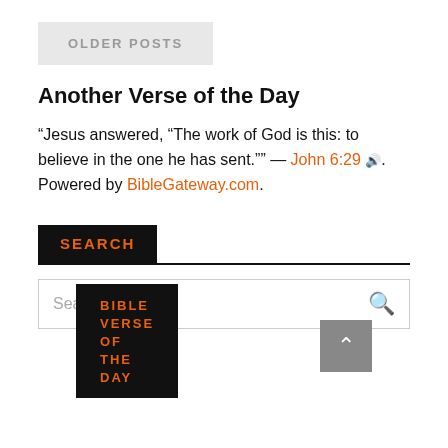OLDER POSTS
Another Verse of the Day
“Jesus answered, “The work of God is this: to believe in the one he has sent.”” — John 6:29 🔊. Powered by BibleGateway.com.
SEARCH
Search ...
BIBLE VERSE OF THE DAY